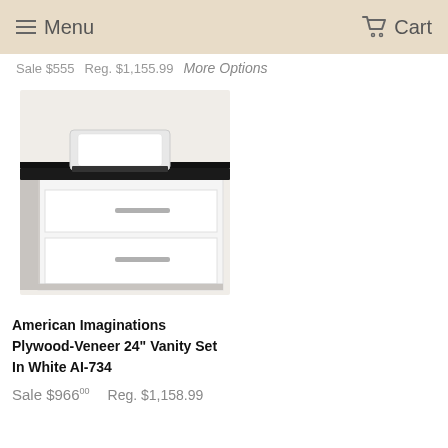Menu  Cart
Sale $555  Reg. $1,155.99  More Options
[Figure (photo): White bathroom vanity set with black countertop and white square vessel sink on top, two drawers with silver handles]
American Imaginations Plywood-Veneer 24" Vanity Set In White AI-734
Sale $96600  Reg. $1,158.99